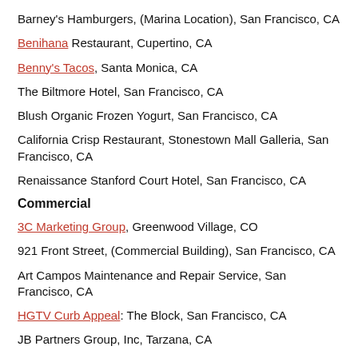Barney's Hamburgers, (Marina Location), San Francisco, CA
Benihana Restaurant, Cupertino, CA
Benny's Tacos, Santa Monica, CA
The Biltmore Hotel, San Francisco, CA
Blush Organic Frozen Yogurt, San Francisco, CA
California Crisp Restaurant, Stonestown Mall Galleria, San Francisco, CA
Renaissance Stanford Court Hotel, San Francisco, CA
Commercial
3C Marketing Group, Greenwood Village, CO
921 Front Street, (Commercial Building), San Francisco, CA
Art Campos Maintenance and Repair Service, San Francisco, CA
HGTV Curb Appeal: The Block, San Francisco, CA
JB Partners Group, Inc, Tarzana, CA
Laughing Lotus Yoga Center, San Francisco, CA